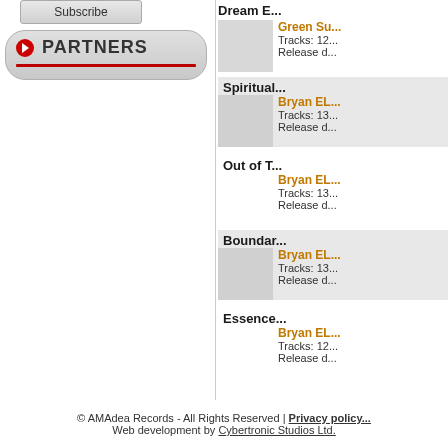Subscribe
PARTNERS
Dream E
Green Su
Tracks: 12
Release d
Spiritual
Bryan EL
Tracks: 13
Release d
Out of T
Bryan EL
Tracks: 13
Release d
Boundar
Bryan EL
Tracks: 13
Release d
Essence
Bryan EL
Tracks: 12
Release d
© AMAdea Records - All Rights Reserved | Privacy policy
Web development by Cybertronic Studios Ltd.